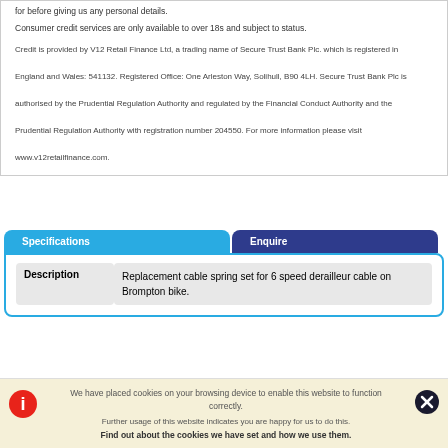for before giving us any personal details.
Consumer credit services are only available to over 18s and subject to status.
Credit is provided by V12 Retail Finance Ltd, a trading name of Secure Trust Bank Plc. which is registered in England and Wales: 541132. Registered Office: One Arleston Way, Solihull, B90 4LH. Secure Trust Bank Plc is authorised by the Prudential Regulation Authority and regulated by the Financial Conduct Authority and the Prudential Regulation Authority with registration number 204550. For more information please visit www.v12retailfinance.com.
Specifications
Enquire
| Description |  |
| --- | --- |
| Description | Replacement cable spring set for 6 speed derailleur cable on Brompton bike. |
As with any product, specification is subject to change without prior notification.
We have placed cookies on your browsing device to enable this website to function correctly.
Further usage of this website indicates you are happy for us to do this.
Find out about the cookies we have set and how we use them.